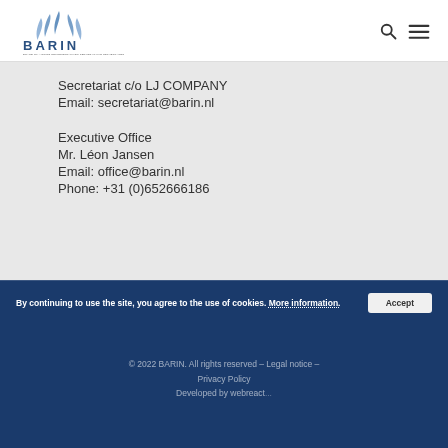BARIN — Board of Airline Representatives Served in the Netherlands
Secretariat c/o LJ COMPANY
Email: secretariat@barin.nl
Executive Office
Mr. Léon Jansen
Email: office@barin.nl
Phone: +31 (0)652666186
© 2022 BARIN. All rights reserved – Legal notice – Privacy Policy
Developed by webreact...
By continuing to use the site, you agree to the use of cookies. More information.